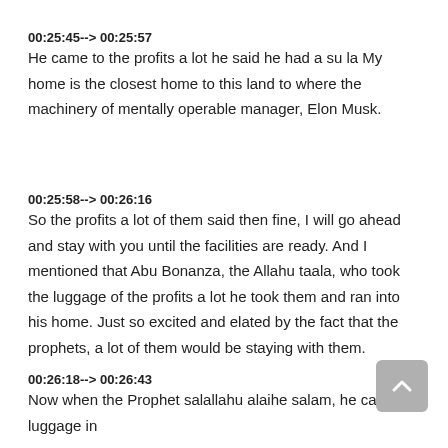00:25:45--> 00:25:57
He came to the profits a lot he said he had a su la My home is the closest home to this land to where the machinery of mentally operable manager, Elon Musk.
00:25:58--> 00:26:16
So the profits a lot of them said then fine, I will go ahead and stay with you until the facilities are ready. And I mentioned that Abu Bonanza, the Allahu taala, who took the luggage of the profits a lot he took them and ran into his home. Just so excited and elated by the fact that the prophets, a lot of them would be staying with them.
00:26:18--> 00:26:43
Now when the Prophet salallahu alaihe salam, he carries a luggage in